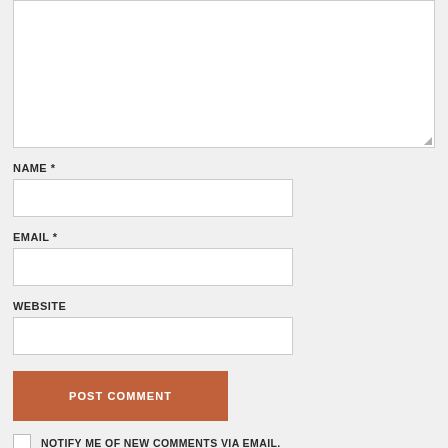[Figure (screenshot): Comment form textarea (large empty text input box) at the top of the page]
NAME *
[Figure (screenshot): Name input field (single-line text box)]
EMAIL *
[Figure (screenshot): Email input field (single-line text box)]
WEBSITE
[Figure (screenshot): Website input field (single-line text box)]
[Figure (screenshot): POST COMMENT button in terracotta/rust color]
NOTIFY ME OF NEW COMMENTS VIA EMAIL.
NOTIFY ME OF NEW POSTS VIA EMAIL.